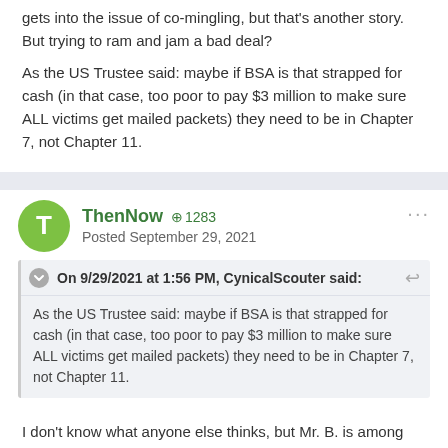gets into the issue of co-mingling, but that's another story. But trying to ram and jam a bad deal?
As the US Trustee said: maybe if BSA is that strapped for cash (in that case, too poor to pay $3 million to make sure ALL victims get mailed packets) they need to be in Chapter 7, not Chapter 11.
ThenNow · +1283 · Posted September 29, 2021
On 9/29/2021 at 1:56 PM, CynicalScouter said: As the US Trustee said: maybe if BSA is that strapped for cash (in that case, too poor to pay $3 million to make sure ALL victims get mailed packets) they need to be in Chapter 7, not Chapter 11.
I don't know what anyone else thinks, but Mr. B. is among my